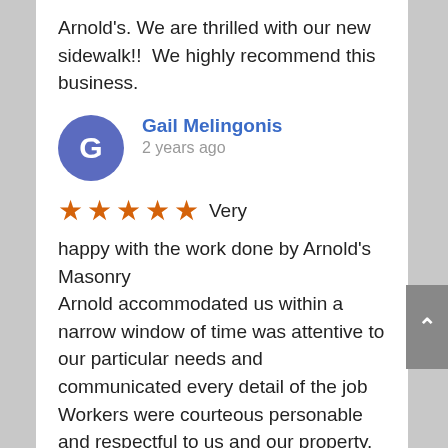Arnold's. We are thrilled with our new sidewalk!!  We highly recommend this business.
Gail Melingonis
2 years ago
★★★★★ Very happy with the work done by Arnold's Masonry
Arnold accommodated us within a narrow window of time was attentive to our particular needs and communicated every detail of the job Workers were courteous personable and respectful to us and our property.